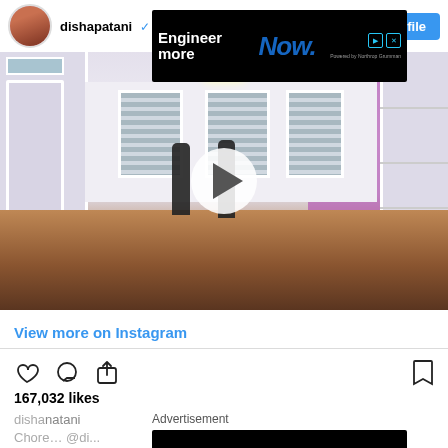dishapatani (verified)
[Figure (screenshot): Instagram video thumbnail showing a person dancing in a large open room with wooden floors, white paneled walls, purple accent wall, and white shelving. A play button overlay is centered on the image.]
View more on Instagram
[Figure (infographic): Instagram action icons row: heart (like), comment bubble, share arrow on left; bookmark icon on right]
167,032 likes
dishanatani
Choreography @di...
[Figure (other): Advertisement banner: Engineer more Now. Powered by Northrop Grumman]
[Figure (other): Advertisement banner bottom: Engineer more Now. Powered by Northrop Grumman]